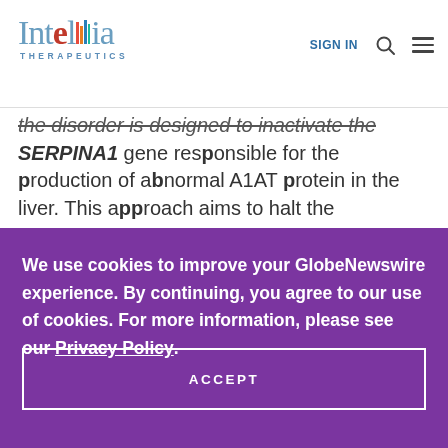Intellia Therapeutics | SIGN IN
the disorder is designed to inactivate the SERPINA1 gene responsible for the production of abnormal A1AT protein in the liver. This approach aims to halt the
We use cookies to improve your GlobeNewswire experience. By continuing, you agree to our use of cookies. For more information, please see our Privacy Policy.
ACCEPT